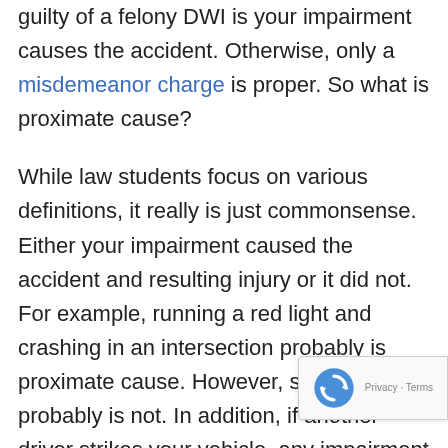guilty of a felony DWI is your impairment causes the accident. Otherwise, only a misdemeanor charge is proper. So what is proximate cause?
While law students focus on various definitions, it really is just commonsense. Either your impairment caused the accident and resulting injury or it did not. For example, running a red light and crashing in an intersection probably is proximate cause. However, sliding on ice probably is not. In addition, if another driver strikes your vehicle, any impairment would not be an issue. After all, you did not cause the accident, but you can still face a DWI. Even though this may not seem right, it is still bet than the alternative. Rather than prison time